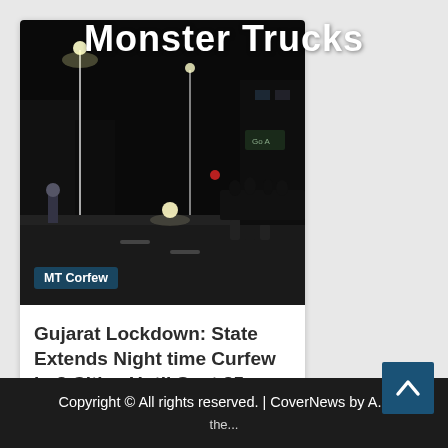Monster Trucks
[Figure (photo): Night street scene with police officer on an empty road, city lights in background. Tag label reads 'MT Corfew'.]
Gujarat Lockdown: State Extends Night time Curfew in 8 Cities Until Sept 25
3 weeks ago   admin
Copyright © All rights reserved. | CoverNews by A...